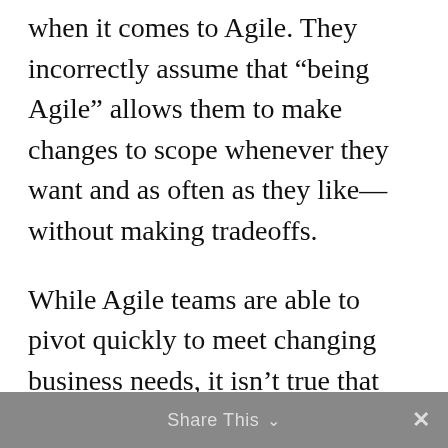when it comes to Agile. They incorrectly assume that “being Agile” allows them to make changes to scope whenever they want and as often as they like—without making tradeoffs.
While Agile teams are able to pivot quickly to meet changing business needs, it isn’t true that those changes can always be made without consequences to schedule and budget. Agile allows for changes, but with tradeoffs. The way companies contract for Agile services can exacerbate this problem.
Share This ∨  ×